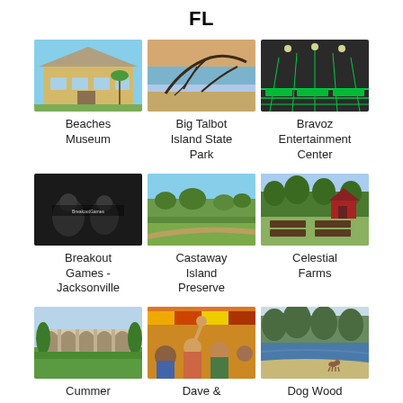FL
[Figure (photo): Beaches Museum building exterior]
Beaches Museum
[Figure (photo): Big Talbot Island State Park driftwood at sunset]
Big Talbot Island State Park
[Figure (photo): Bravoz Entertainment Center indoor trampoline park with green equipment]
Bravoz Entertainment Center
[Figure (photo): Breakout Games Jacksonville escape room scene]
Breakout Games - Jacksonville
[Figure (photo): Castaway Island Preserve landscape]
Castaway Island Preserve
[Figure (photo): Celestial Farms barn and garden]
Celestial Farms
[Figure (photo): Cummer Museum garden arches]
Cummer
[Figure (photo): Dave and Buster's or similar entertainment event crowd]
Dave &
[Figure (photo): Dog Wood park with lake and beach]
Dog Wood